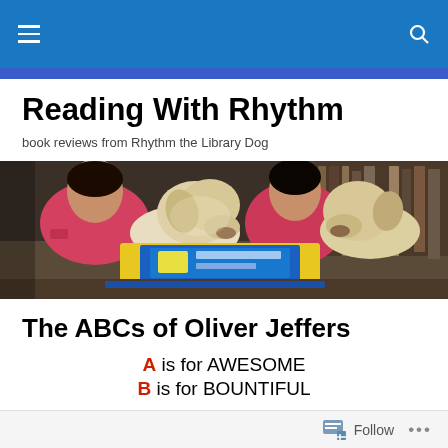Navigation bar with hamburger menu and search icon
Reading With Rhythm
book reviews from Rhythm the Library Dog
[Figure (photo): Two children in pink shirts reading a book while two yellow Labrador dogs look on, lying beside them in a library setting.]
The ABCs of Oliver Jeffers
A is for AWESOME
B is for BOUNTIFUL
Follow  ...